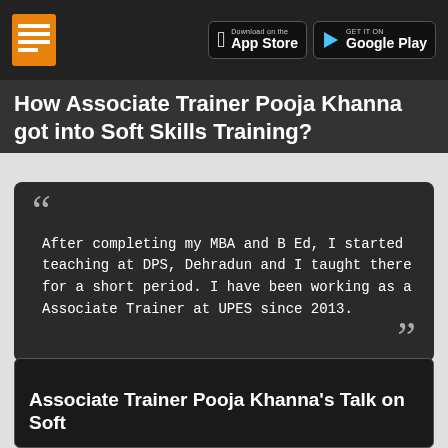Download on the App Store | GET IT ON Google Play
How Associate Trainer Pooja Khanna got into Soft Skills Training?
After completing my MBA and B Ed, I started teaching at DPS, Dehradun and I taught there for a short period. I have been working as a Associate Trainer at UPES since 2013.
Associate Trainer Pooja Khanna's Talk on Soft